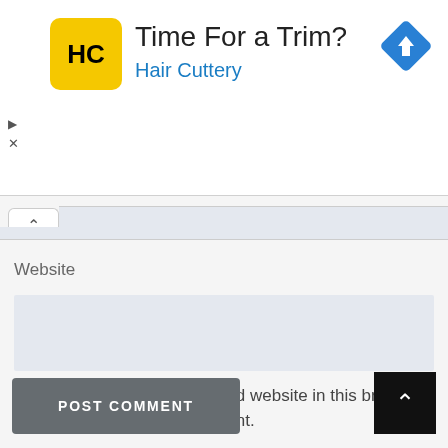[Figure (screenshot): Advertisement banner for Hair Cuttery with yellow logo, headline 'Time For a Trim?' and blue subtext 'Hair Cuttery', with a blue diamond arrow icon on the right and ad controls on the left.]
Website
Save my name, email, and website in this browser for the next time I comment.
POST COMMENT